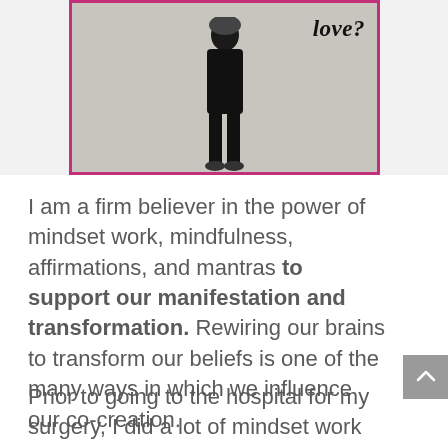[Figure (photo): Photo of a person standing against a light wall, wearing dark clothing. A pink/magenta border frames the image. Cursive text reading 'love?' appears in the upper right of the photo.]
I am a firm believer in the power of mindset work, mindfulness, affirmations, and mantras to support our manifestation and transformation. Rewiring our brains to transform our beliefs is one of the many ways in which we influence our co-creation.
Prior to going to the hospital for my surgery, I did a lot of mindset work connecting with my body